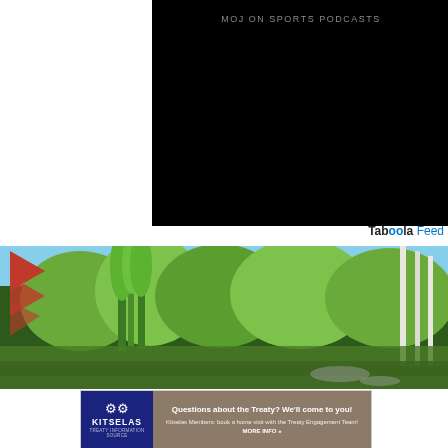[Figure (screenshot): Black video player with title 'MOJ ON SPORTS PODCASTS' in gray text at the top]
Taboola Feed
[Figure (photo): Outdoor photo showing trees and green landscape with a red logo in the upper left corner]
[Figure (infographic): Kitselas advertisement: 'Questions about the Treaty? We'll come to you! Kitselas Members: book a home visit with the Treaty Engagement Team! MORE INFO »']